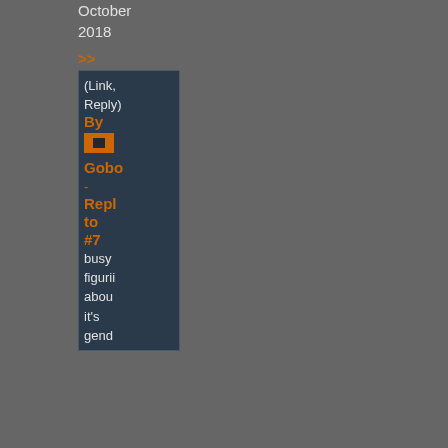October 2018
>>
(Link, Reply)
By
Gobotz
-
Reply to #7
busy figuri about it's gend
Edited by Gobotz at 07:02 CDT, 11 October 2018
11%
<<
Comment #20
@
07:16